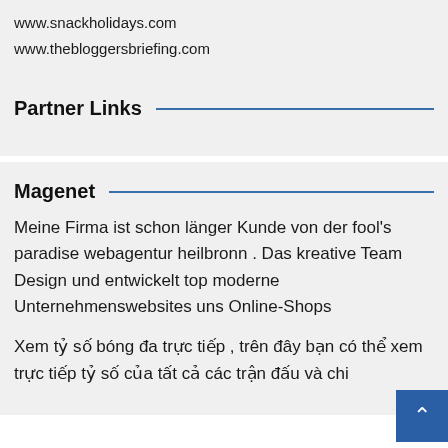www.snackholidays.com
www.thebloggersbriefing.com
Partner Links
Magenet
Meine Firma ist schon länger Kunde von der fool's paradise webagentur heilbronn . Das kreative Team Design und entwickelt top moderne Unternehmenswebsites uns Online-Shops
Xem tỷ số bóng đa trực tiếp , trên đây bạn có thể xem trực tiếp tỷ số của tất cả các trận đấu và chi